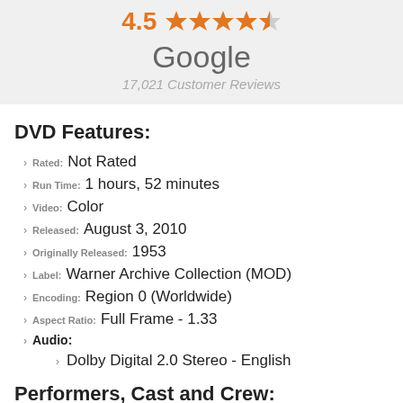[Figure (other): Rating display showing 4.5 stars out of 5, orange star icons, labeled Google with 17,021 Customer Reviews]
DVD Features:
Rated: Not Rated
Run Time: 1 hours, 52 minutes
Video: Color
Released: August 3, 2010
Originally Released: 1953
Label: Warner Archive Collection (MOD)
Encoding: Region 0 (Worldwide)
Aspect Ratio: Full Frame - 1.33
Audio:
Dolby Digital 2.0 Stereo - English
Performers, Cast and Crew:
Jean Simmons, Stewart Granger, Deborah Kerr, Charles Laughton, Kay Walsh, Guy